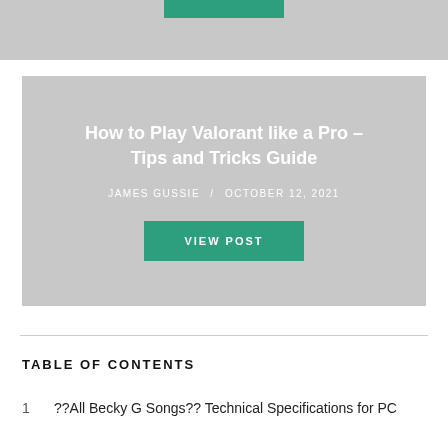[Figure (screenshot): Top card with teal VIEW POST button partially visible]
How to Play Valorant like a Pro – Tips and Tricks Guide
JAMES GUSSIE / OCTOBER 12, 2021
VIEW POST
TABLE OF CONTENTS
1  ??All Becky G Songs?? Technical Specifications for PC